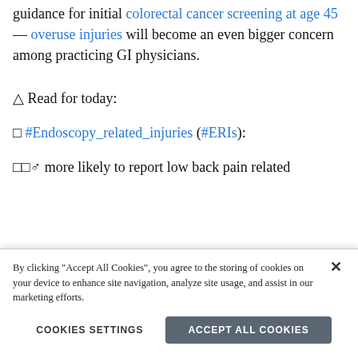guidance for initial colorectal cancer screening at age 45 — overuse injuries will become an even bigger concern among practicing GI physicians.
△ Read for today:
□ #Endoscopy_related_injuries (#ERIs):
□□♂ more likely to report low back pain related
By clicking "Accept All Cookies", you agree to the storing of cookies on your device to enhance site navigation, analyze site usage, and assist in our marketing efforts.